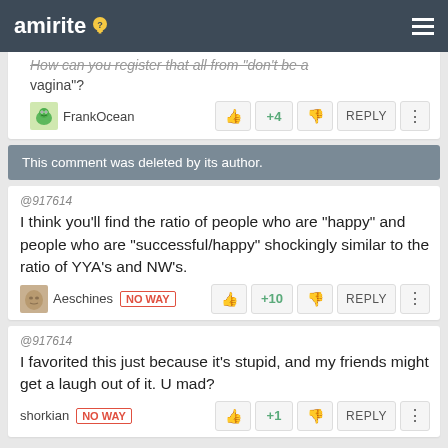amirite
How can you register that all from "don't be a vagina"?
FrankOcean +4 REPLY
This comment was deleted by its author.
@917614
I think you'll find the ratio of people who are "happy" and people who are "successful/happy" shockingly similar to the ratio of YYA's and NW's.
Aeschines NO WAY +10 REPLY
@917614
I favorited this just because it's stupid, and my friends might get a laugh out of it. U mad?
shorkian NO WAY +1 REPLY